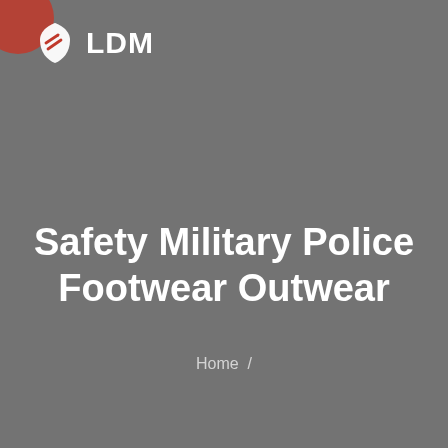[Figure (logo): LDM logo: white shield-like icon with two red diagonal lines, followed by bold white text 'LDM'. Decorative dark red circle partially visible at top-left corner.]
Safety Military Police Footwear Outwear
Home  /